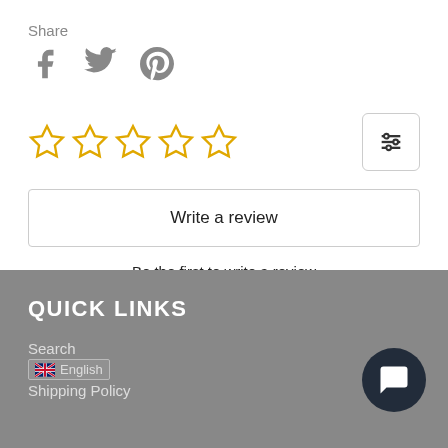Share
[Figure (illustration): Social media share icons: Facebook (f), Twitter (bird), Pinterest (P)]
[Figure (illustration): Five empty star rating icons in gold/yellow outline]
[Figure (illustration): Filter/sort icon button]
Write a review
Be the first to write a review
QUICK LINKS
Search
Shipping Policy
[Figure (illustration): Chat bubble button (dark circle with white chat icon)]